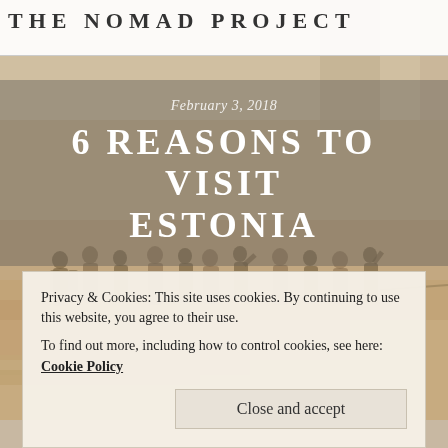THE NOMAD PROJECT
[Figure (photo): Sepia-toned historical photograph showing multiple people (soldiers or civilians) standing outdoors near a building with columns. The image has a warm brownish-beige tone typical of old photographs.]
February 3, 2018
6 REASONS TO VISIT ESTONIA
Privacy & Cookies: This site uses cookies. By continuing to use this website, you agree to their use.
To find out more, including how to control cookies, see here: Cookie Policy
Close and accept